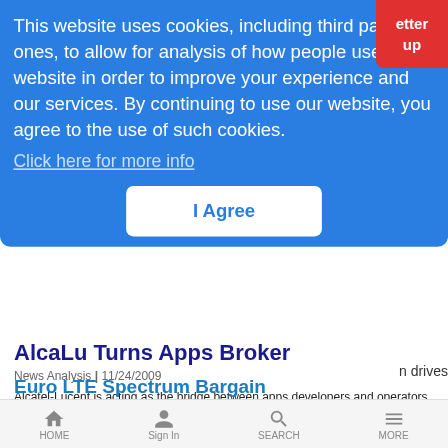[Figure (screenshot): Red button partially visible in top-right corner with text 'etter' and 'up']
This website uses cookies, including third party ones, to allow for analysis of how people use our website in order to improve your experience and our services. By continuing to use our website, you agree to the use of such cookies.
Click here for more info
I Agree
AlcaLu Turns Apps Broker
News Analysis | 11/24/2009
Alcatel-Lucent is acting as the bridge between apps developers and operators with an initiative called Open API, with Sprint already on board
Euro LTE Spectrum Bargain
HOME  Sign In  SEARCH  MORE